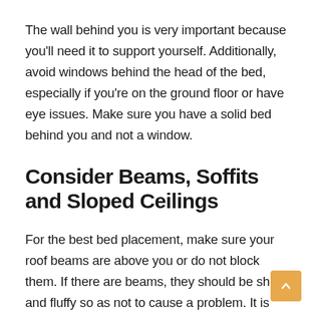The wall behind you is very important because you'll need it to support yourself. Additionally, avoid windows behind the head of the bed, especially if you're on the ground floor or have eye issues. Make sure you have a solid bed behind you and not a window.
Consider Beams, Soffits and Sloped Ceilings
For the best bed placement, make sure your roof beams are above you or do not block them. If there are beams, they should be short and fluffy so as not to cause a problem. It is best if they're just below the ceiling because it can still be a